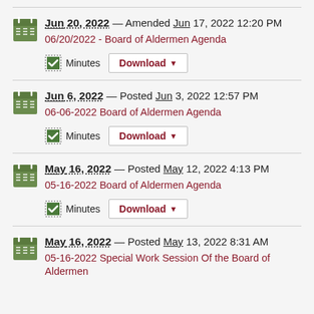Jun 20, 2022 — Amended Jun 17, 2022 12:20 PM
06/20/2022 - Board of Aldermen Agenda
Minutes Download
Jun 6, 2022 — Posted Jun 3, 2022 12:57 PM
06-06-2022 Board of Aldermen Agenda
Minutes Download
May 16, 2022 — Posted May 12, 2022 4:13 PM
05-16-2022 Board of Aldermen Agenda
Minutes Download
May 16, 2022 — Posted May 13, 2022 8:31 AM
05-16-2022 Special Work Session Of the Board of Aldermen